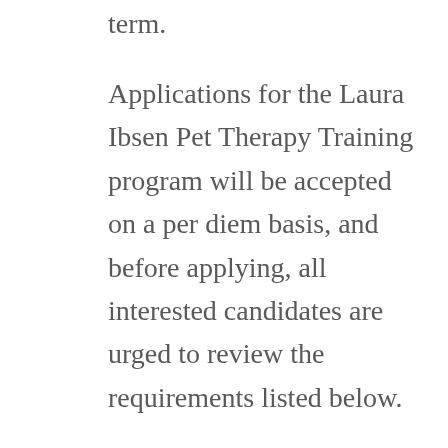term.
Applications for the Laura Ibsen Pet Therapy Training program will be accepted on a per diem basis, and before applying, all interested candidates are urged to review the requirements listed below.